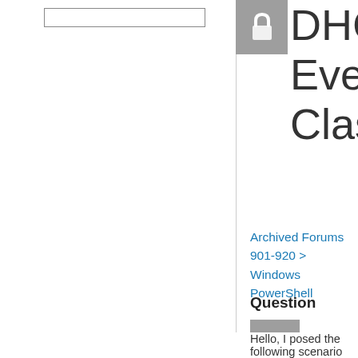[Figure (other): Search input box in sidebar]
DHCP WMI Event Classes
[Figure (other): RSS feed icon next to title]
Archived Forums 901-920 > Windows PowerShell
Question
[Figure (other): Question mark avatar icon (grey square with white ?)]
▲
0
Sign in to vote
Hello, I posed the following scenario